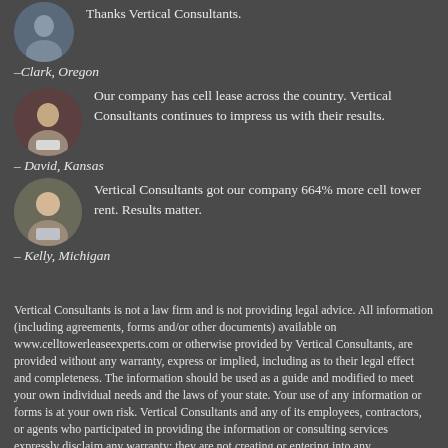Thanks Vertical Consultants.
–Clark, Oregon
Our company has cell lease across the country. Vertical Consultants continues to impress us with their results.
– David, Kansas
Vertical Consultants got our company 664% more cell tower rent. Results matter.
– Kelly, Michigan
Vertical Consultants is not a law firm and is not providing legal advice. All information (including agreements, forms and/or other documents) available on www.celltowerleaseexperts.com or otherwise provided by Vertical Consultants, are provided without any warranty, express or implied, including as to their legal effect and completeness. The information should be used as a guide and modified to meet your own individual needs and the laws of your state. Your use of any information or forms is at your own risk. Vertical Consultants and any of its employees, contractors, or agents who participated in providing the information or consulting services expressly disclaim any warranty: they are not creating or entering into any Attorney-Client relationship by providing information or consulting services to you.